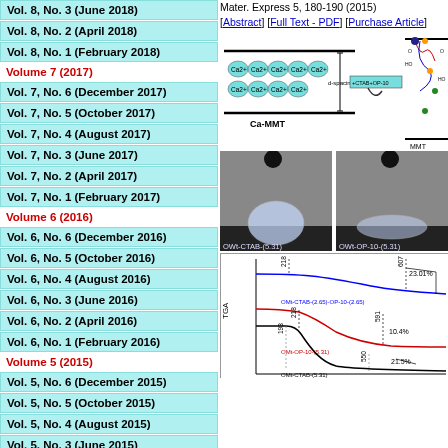Vol. 8, No. 3 (June 2018)
Vol. 8, No. 2 (April 2018)
Vol. 8, No. 1 (February 2018)
Volume 7 (2017)
Vol. 7, No. 6 (December 2017)
Vol. 7, No. 5 (October 2017)
Vol. 7, No. 4 (August 2017)
Vol. 7, No. 3 (June 2017)
Vol. 7, No. 2 (April 2017)
Vol. 7, No. 1 (February 2017)
Volume 6 (2016)
Vol. 6, No. 6 (December 2016)
Vol. 6, No. 5 (October 2016)
Vol. 6, No. 4 (August 2016)
Vol. 6, No. 3 (June 2016)
Vol. 6, No. 2 (April 2016)
Vol. 6, No. 1 (February 2016)
Volume 5 (2015)
Vol. 5, No. 6 (December 2015)
Vol. 5, No. 5 (October 2015)
Vol. 5, No. 4 (August 2015)
Vol. 5, No. 3 (June 2015)
Mater. Express 5, 180-190 (2015)
[Abstract] [Full Text - PDF] [Purchase Article]
[Figure (schematic): Schematic diagram showing Ca-MMT clay modification with CTAB and OP-10 surfactants, showing d-spacing and molecular arrangement]
[Figure (photo): Two contact angle photos: OWt-CTAB-(5.31) on left and OWt-OP-10-(5.31) on right]
[Figure (line-chart): TGA curves showing weight loss vs temperature for OMt-CTAB-(2.65)-OP-10-(2.65), OMt-OP-10-(5.31), and OMt-CTAB-(5.31) with labeled temperatures 218, 607, 591, 193, 550 and weight losses 23.01%, 10.4%, 21.5%]